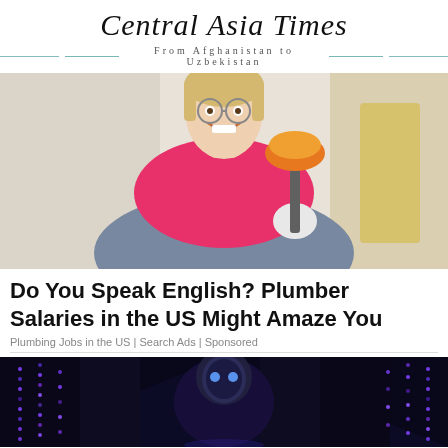Central Asia Times — From Afghanistan to Uzbekistan
[Figure (photo): Smiling woman in blue overalls and pink shirt holding an orange plunger with a white glove, standing in a bright room]
Do You Speak English? Plumber Salaries in the US Might Amaze You
Plumbing Jobs in the US | Search Ads | Sponsored
[Figure (photo): Dark image showing a data center or server corridor with purple/blue LED lights and a humanoid robot or figure in the center]